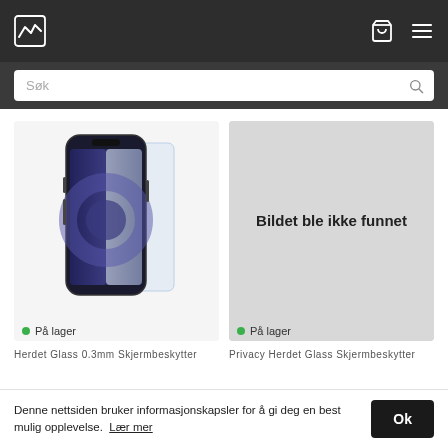Navigation header with logo, cart, and menu icons
Søk
[Figure (photo): iPhone with screen protector overlay on left product card]
På lager
[Figure (photo): Grey placeholder rectangle with 'Bildet ble ikke funnet' text on right product card]
På lager
Herdet Glass 0.3mm Skjermbeskytter
Privacy Herdet Glass Skjermbeskytter
Denne nettsiden bruker informasjonskapsler for å gi deg en best mulig opplevelse. Lær mer